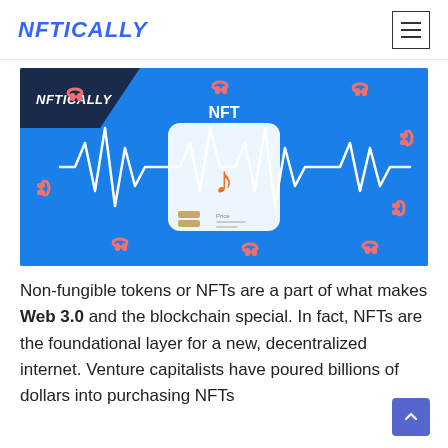NFTICALLY
[Figure (photo): Blue background music NFT promotional image with headphones scattered around, a music note icon card in the center labeled NFT with a sound wave waveform, and the NFTICALLY logo in the top-left corner.]
Non-fungible tokens or NFTs are a part of what makes Web 3.0 and the blockchain special. In fact, NFTs are the foundational layer for a new, decentralized internet. Venture capitalists have poured billions of dollars into purchasing NFTs